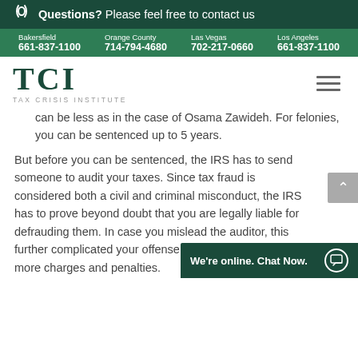Questions? Please feel free to contact us
Bakersfield 661-837-1100 | Orange County 714-794-4680 | Las Vegas 702-217-0660 | Los Angeles 661-837-1100
[Figure (logo): TCI Tax Crisis Institute logo with green serif letters and subtitle]
can be less as in the case of Osama Zawideh. For felonies, you can be sentenced up to 5 years.
But before you can be sentenced, the IRS has to send someone to audit your taxes. Since tax fraud is considered both a civil and criminal misconduct, the IRS has to prove beyond doubt that you are legally liable for defrauding them. In case you mislead the auditor, this further complicated your offense and you may be up for more charges and penalties.